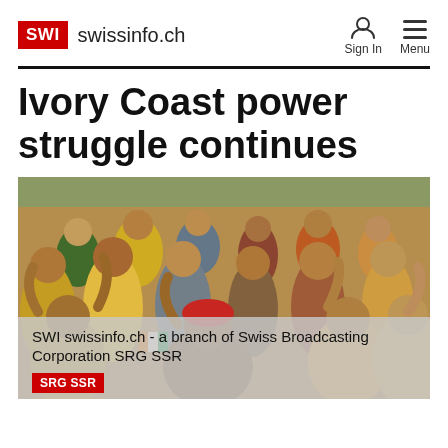SWI swissinfo.ch
Ivory Coast power struggle continues
[Figure (photo): A crowd of African women in colorful clothing, many with arms raised, appearing to chant or protest outdoors.]
SWI swissinfo.ch - a branch of Swiss Broadcasting Corporation SRG SSR